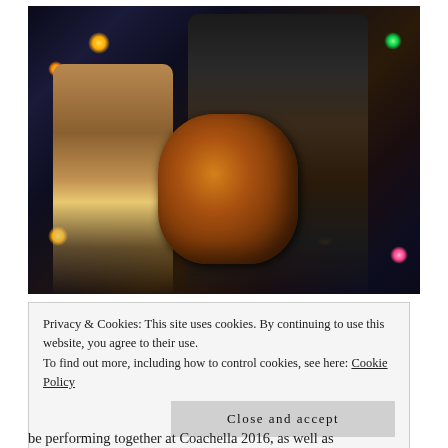[Figure (photo): Two rock musicians performing on stage. One singer shirtless wearing American flag pants, another guitarist with curly hair playing a Les Paul guitar. Colorful stage lighting in the background.]
Privacy & Cookies: This site uses cookies. By continuing to use this website, you agree to their use.
To find out more, including how to control cookies, see here: Cookie Policy
Close and accept
be performing together at Coachella 2016, as well as